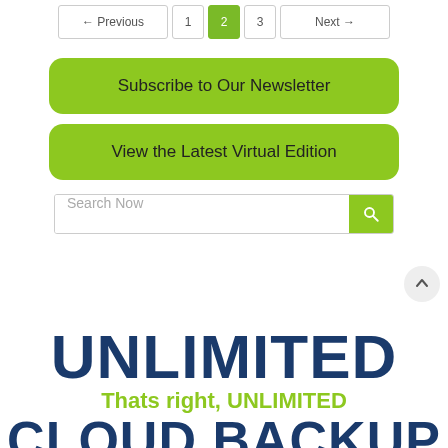← Previous  1  2  3  Next →
Subscribe to Our Newsletter
View the Latest Virtual Edition
Search Now
[Figure (infographic): Large bold text advertisement reading: UNLIMITED / Thats right, UNLIMITED / CLOUD BACKUP (partially visible)]